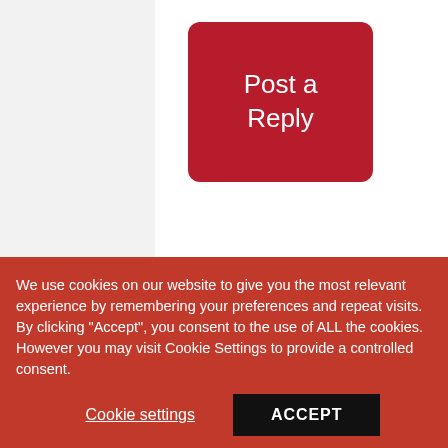[Figure (other): Red 'Post a Reply' button]
Arya M. Sharma, MD
FRIDAY, APRIL 15, 2011
You will pe
We use cookies on our website to give you the most relevant experience by remembering your preferences and repeat visits. By clicking "Accept", you consent to the use of ALL the cookies. However you may visit Cookie Settings to provide a controlled consent.
Cookie settings
ACCEPT